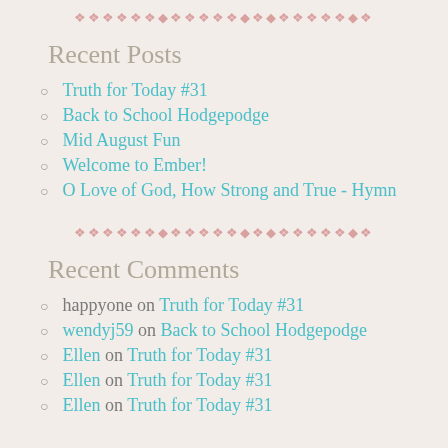[Figure (other): Decorative diamond/dot divider in pink/rose color]
Recent Posts
Truth for Today #31
Back to School Hodgepodge
Mid August Fun
Welcome to Ember!
O Love of God, How Strong and True - Hymn
[Figure (other): Decorative diamond/dot divider in pink/rose color]
Recent Comments
happyone on Truth for Today #31
wendyj59 on Back to School Hodgepodge
Ellen on Truth for Today #31
Ellen on Truth for Today #31
Ellen on Truth for Today #31